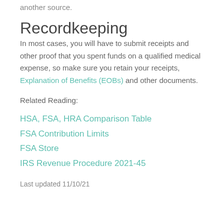another source.
Recordkeeping
In most cases, you will have to submit receipts and other proof that you spent funds on a qualified medical expense, so make sure you retain your receipts, Explanation of Benefits (EOBs) and other documents.
Related Reading:
HSA, FSA, HRA Comparison Table
FSA Contribution Limits
FSA Store
IRS Revenue Procedure 2021-45
Last updated 11/10/21